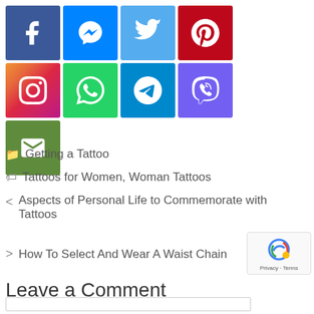[Figure (infographic): Grid of social media share buttons: Facebook (dark blue), Messenger (blue), Twitter (light blue), Pinterest (red), Instagram (gradient), WhatsApp (green), Telegram (blue), Viber (purple), Email (olive green)]
Getting a Tattoo
Tattoos for Women, Woman Tattoos
< Aspects of Personal Life to Commemorate with Tattoos
> How To Select And Wear A Waist Chain
Leave a Comment